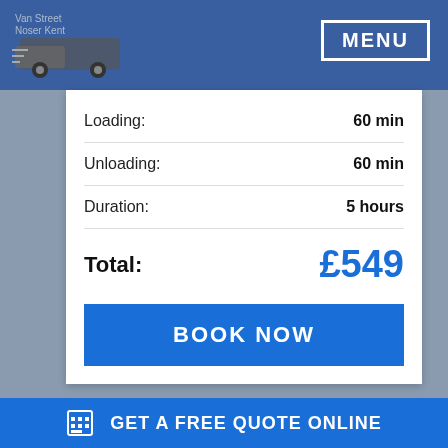[Figure (screenshot): Van Man company logo with truck graphic and text]
MENU
|  |  |
| --- | --- |
| Loading: | 60 min |
| Unloading: | 60 min |
| Duration: | 5 hours |
Total: £549
BOOK NOW
This website uses cookies to ensure you get the best experience on our website.
EXTRA LARGE VAN
Learn more
[Figure (photo): Extra large van with Got It! branding and phone number 020 7060 4743]
GET A FREE QUOTE ONLINE